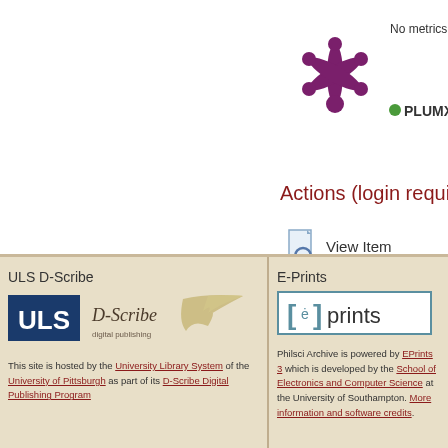[Figure (logo): PlumX metrics asterisk/snowflake logo in dark purple]
No metrics av
[Figure (logo): PlumX logo with leaf icon]
Actions (login required)
[Figure (illustration): View Item icon with magnifying glass on document]
View Item
ULS D-Scribe
[Figure (logo): ULS logo (dark blue box) and D-Scribe digital publishing logo with quill]
This site is hosted by the University Library System of the University of Pittsburgh as part of its D-Scribe Digital Publishing Program
E-Prints
[Figure (logo): EPrints logo in teal border box]
Philsci Archive is powered by EPrints 3 which is developed by the School of Electronics and Computer Science at the University of Southampton. More information and software credits.